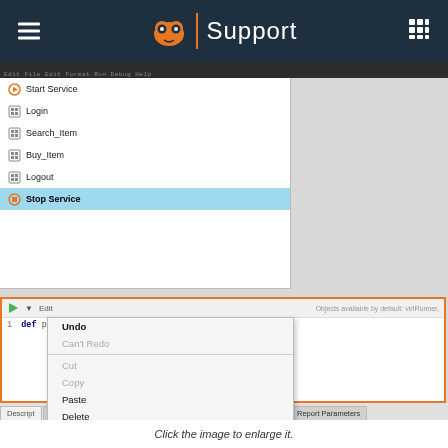Support
[Figure (screenshot): Screenshot of a test automation tool showing a list of test steps (Start Service, Login, Search_Item, Buy_Item, Logout, Stop Service) with Stop Service selected/highlighted in blue. Below is a code editor panel with an orange border showing a context menu open with options: Undo, Can't Redo, Cut, Copy, Paste, Delete, Select All, Folding, Find / Replace (Ctrl-F), Code Completion (Ctrl-Space), Change Color Scheme, Go to Line (Ctrl-G), Show Line Numbers (Alt-L), Get Data. Bottom shows tabs: Description, Setup Script, Report Script, Report Parameters.]
Click the image to enlarge it.